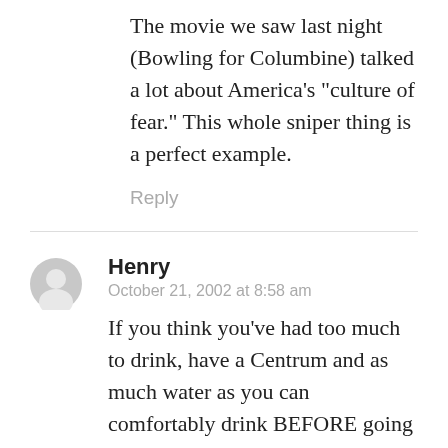The movie we saw last night (Bowling for Columbine) talked a lot about America’s “culture of fear.” This whole sniper thing is a perfect example.
Reply
Henry
October 21, 2002 at 8:58 am
If you think you’ve had too much to drink, have a Centrum and as much water as you can comfortably drink BEFORE going to sleep. It often makes a